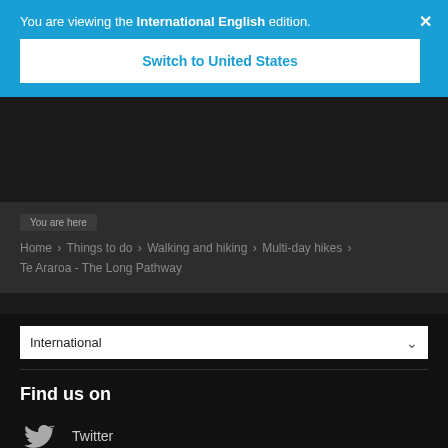You are viewing the International English edition.
Switch to United States
You are here
Home › Things to do › Walking and hiking › Multi-day hikes › Te Araroa - The Long Pathway
International
Find us on
Twitter
Instagram
Facebook
YouTube